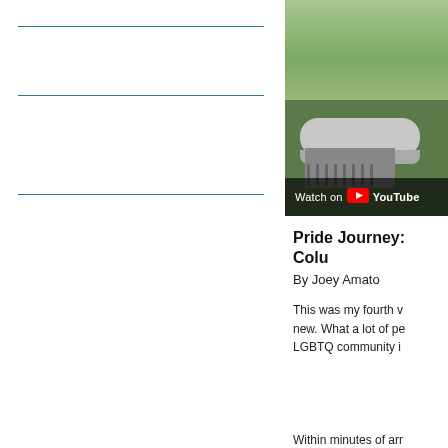[Figure (screenshot): YouTube video thumbnail showing outdoor industrial equipment (pipes/HVAC) with green landscape in background, and 'Watch on YouTube' bar at bottom]
Pride Journey: Col…
By Joey Amato
This was my fourth w… new. What a lot of pe… LGBTQ community i…
Within minutes of ar… community center. lo…